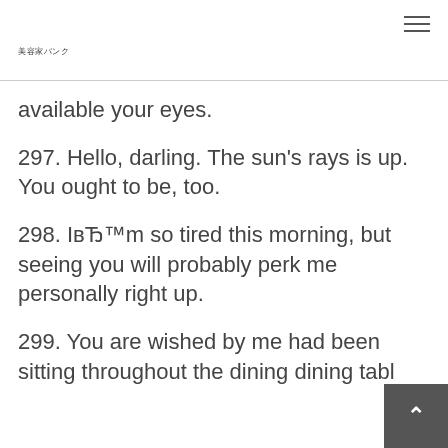美容家バンク
available your eyes.
297. Hello, darling. The sun's rays is up. You ought to be, too.
298. IвЂ™m so tired this morning, but seeing you will probably perk me personally right up.
299. You are wished by me had been sitting throughout the dining dining tabl…